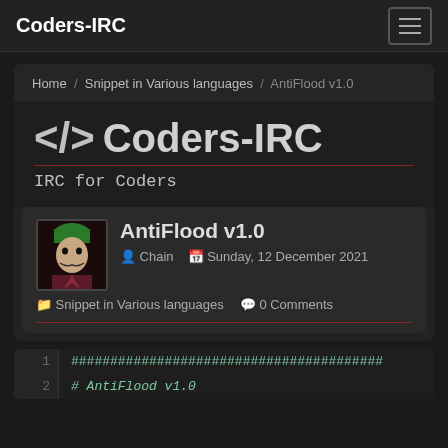Coders-IRC
Home / Snippet in Various languages / AntiFlood v1.0
</> Coders-IRC
IRC for Coders
AntiFlood v1.0
Chain   Sunday, 12 December 2021
Snippet in Various languages   0 Comments
1  ########################################
2  # AntiFlood v1.0